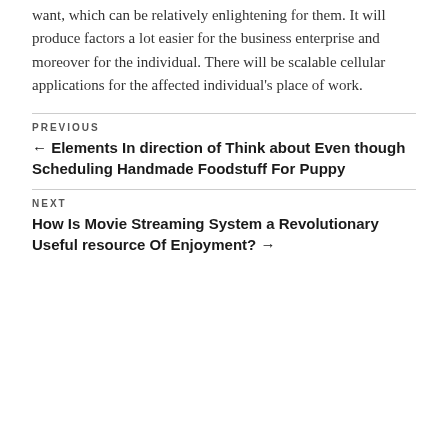want, which can be relatively enlightening for them. It will produce factors a lot easier for the business enterprise and moreover for the individual. There will be scalable cellular applications for the affected individual's place of work.
PREVIOUS
← Elements In direction of Think about Even though Scheduling Handmade Foodstuff For Puppy
NEXT
How Is Movie Streaming System a Revolutionary Useful resource Of Enjoyment? →